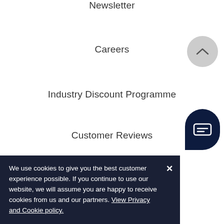Newsletter
Careers
Industry Discount Programme
Customer Reviews
Sigma Sports App
Sigma Sports Cafe Ride
Sigma Sports Hub
We use cookies to give you the best customer experience possible. If you continue to use our website, we will assume you are happy to receive cookies from us and our partners. View Privacy and Cookie policy.